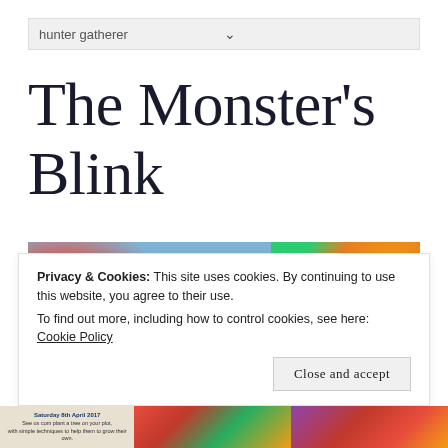hunter gatherer
The Monster's Blink
[Figure (photo): Two side-by-side photos: left photo shows a red sunflower and an allotment garden with sheds and sunflowers under a cloudy sky; right photo shows a colourful harvest of vegetables and fruit including courgettes, beetroot, carrots, tomatoes and an orange pumpkin on a green fabric.]
Privacy & Cookies: This site uses cookies. By continuing to use this website, you agree to their use.
To find out more, including how to control cookies, see here: Cookie Policy
Close and accept
[Figure (photo): Bottom strip showing three panels: left panel with small text dated Saturday 8th April 2017, middle and right panels with colourful garden/flower photos.]